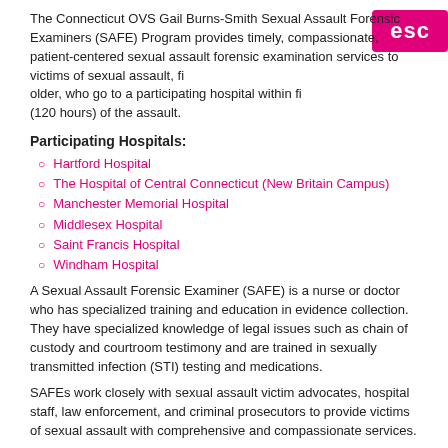The Connecticut OVS Gail Burns-Smith Sexual Assault Forensic Examiners (SAFE) Program provides timely, compassionate, patient-centered sexual assault forensic examination services to victims of sexual assault, [age] older, who go to a participating hospital within fi[ve days] (120 hours) of the assault.
Participating Hospitals:
Hartford Hospital
The Hospital of Central Connecticut (New Britain Campus)
Manchester Memorial Hospital
Middlesex Hospital
Saint Francis Hospital
Windham Hospital
A Sexual Assault Forensic Examiner (SAFE) is a nurse or doctor who has specialized training and education in evidence collection. They have specialized knowledge of legal issues such as chain of custody and courtroom testimony and are trained in sexually transmitted infection (STI) testing and medications.
SAFEs work closely with sexual assault victim advocates, hospital staff, law enforcement, and criminal prosecutors to provide victims of sexual assault with comprehensive and compassionate services.